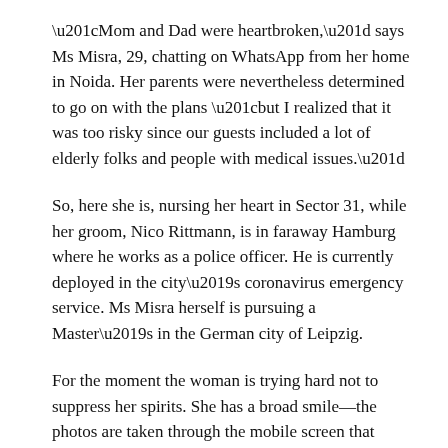“Mom and Dad were heartbroken,” says Ms Misra, 29, chatting on WhatsApp from her home in Noida. Her parents were nevertheless determined to go on with the plans “but I realized that it was too risky since our guests included a lot of elderly folks and people with medical issues.”
So, here she is, nursing her heart in Sector 31, while her groom, Nico Rittmann, is in faraway Hamburg where he works as a police officer. He is currently deployed in the city’s coronavirus emergency service. Ms Misra herself is pursuing a Master’s in the German city of Leipzig.
For the moment the woman is trying hard not to suppress her spirits. She has a broad smile—the photos are taken through the mobile screen that connects her to The Delhi Walla. She gets up to show her framed portrait with Nico; it is placed beside the portraits of her parents and